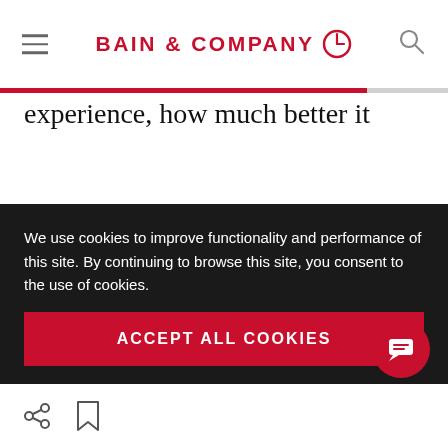BAIN & COMPANY
experience, how much better it would be and how often they would experience it. The advocacy perspective led Telstra to accelerate by six months a large portion of the AUS$1 billion upgrade program for its 3G network.
Not all decisions run smoothly or quickly, of
We use cookies to improve functionality and performance of this site. By continuing to browse this site, you consent to the use of cookies.
ACCEPT ALL COOKIES